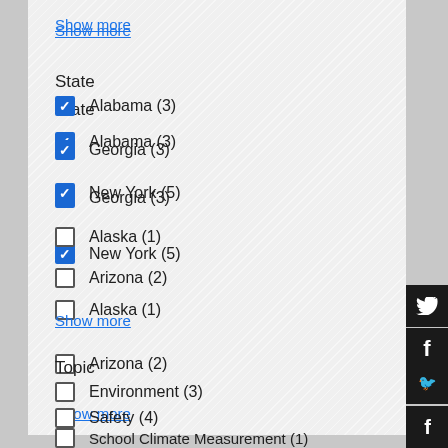Show more
State
Alabama (3) [checked]
Georgia (3) [checked]
New York (5) [checked]
Alaska (1) [unchecked]
Arizona (2) [unchecked]
Show more
Topic
Environment (3) [unchecked]
Safety (4) [unchecked]
School Climate Measurement (1) [unchecked]